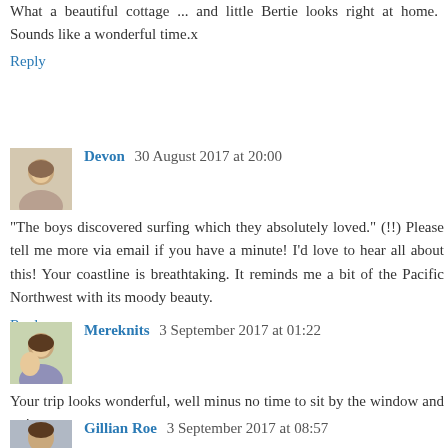What a beautiful cottage ... and little Bertie looks right at home. Sounds like a wonderful time.x
Reply
Devon 30 August 2017 at 20:00
"The boys discovered surfing which they absolutely loved." (!!) Please tell me more via email if you have a minute! I'd love to hear all about this! Your coastline is breathtaking. It reminds me a bit of the Pacific Northwest with its moody beauty.
Reply
Mereknits 3 September 2017 at 01:22
Your trip looks wonderful, well minus no time to sit by the window and write.
Reply
Gillian Roe 3 September 2017 at 08:57